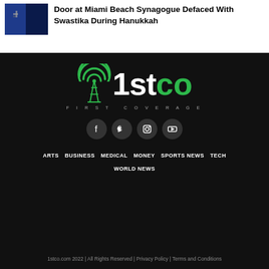Door at Miami Beach Synagogue Defaced With Swastika During Hanukkah
[Figure (logo): 1stco First Coverage news website logo with antenna icon in green]
[Figure (illustration): Social media icons: Facebook, Twitter, Instagram, YouTube — white icons on dark gray circular backgrounds]
ARTS
BUSINESS
MEDICAL
MONEY
SPORTS NEWS
TECH
WORLD NEWS
1stco.com 2022 | All Rights Reserved | Privacy Policy | Terms and Conditions